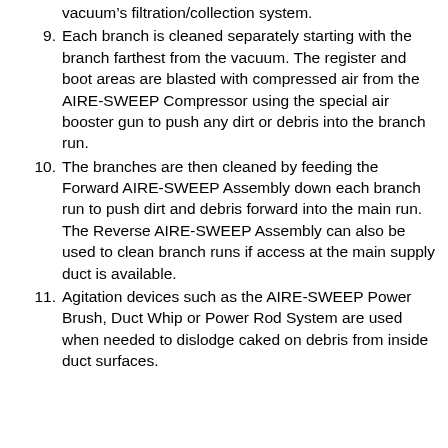vacuum’s filtration/collection system.
9. Each branch is cleaned separately starting with the branch farthest from the vacuum. The register and boot areas are blasted with compressed air from the AIRE-SWEEP Compressor using the special air booster gun to push any dirt or debris into the branch run.
10. The branches are then cleaned by feeding the Forward AIRE-SWEEP Assembly down each branch run to push dirt and debris forward into the main run. The Reverse AIRE-SWEEP Assembly can also be used to clean branch runs if access at the main supply duct is available.
11. Agitation devices such as the AIRE-SWEEP Power Brush, Duct Whip or Power Rod System are used when needed to dislodge caked on debris from inside duct surfaces.